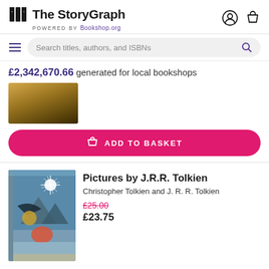The StoryGraph — POWERED BY Bookshop.org
Search titles, authors, and ISBNs
£2,342,670.66 generated for local bookshops
[Figure (photo): Partial book cover with golden/brown textured background, top portion visible]
ADD TO BASKET
Pictures by J.R.R. Tolkien
Christopher Tolkien and J. R. R. Tolkien
£25.00 (crossed out) £23.75
[Figure (photo): Book cover of 'Pictures by J.R.R. Tolkien' showing a painted illustration with a star, mountains, a figure with wings against a blue/green background]